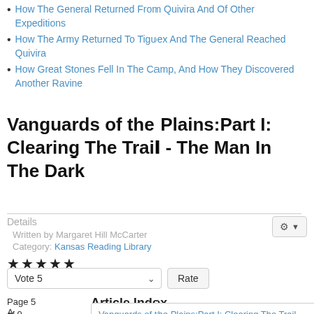How The General Returned From Quivira And Of Other Expeditions
How The Army Returned To Tiguex And The General Reached Quivira
How Great Stones Fell In The Camp, And How They Discovered Another Ravine
Vanguards of the Plains:Part I: Clearing The Trail - The Man In The Dark
Details
Written by Margaret Hill McCarter
Category: Kansas Reading Library
★★★★★
Vote 5
Page 5 of 9
Article Index
A
Vanguards of the Plains:Part I: Clearing The Trail